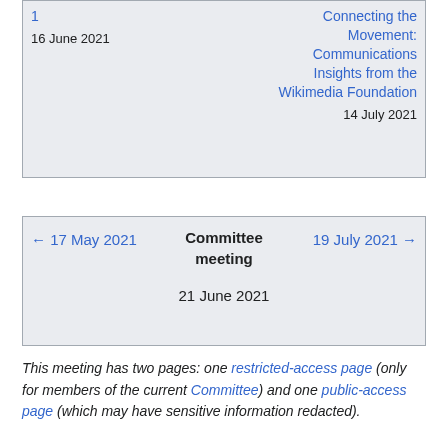| ← 17 May 2021 | Committee meeting
21 June 2021 | 19 July 2021 → |
This meeting has two pages: one restricted-access page (only for members of the current Committee) and one public-access page (which may have sensitive information redacted).